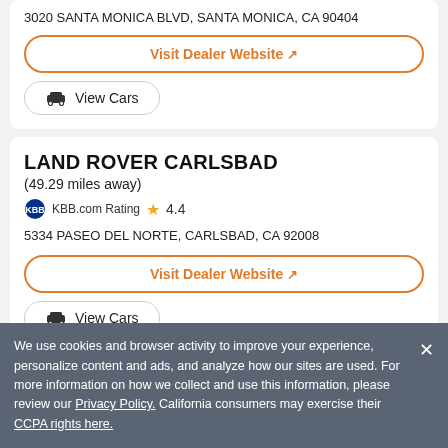3020 SANTA MONICA BLVD, SANTA MONICA, CA 90404
Visit Dealer Website ↗
🚗 View Cars
LAND ROVER CARLSBAD
(49.29 miles away)
KBB.com Rating ★ 4.4
5334 PASEO DEL NORTE, CARLSBAD, CA 92008
Visit Dealer Website ↗
🚗 View Cars
We use cookies and browser activity to improve your experience, personalize content and ads, and analyze how our sites are used. For more information on how we collect and use this information, please review our Privacy Policy. California consumers may exercise their CCPA rights here.